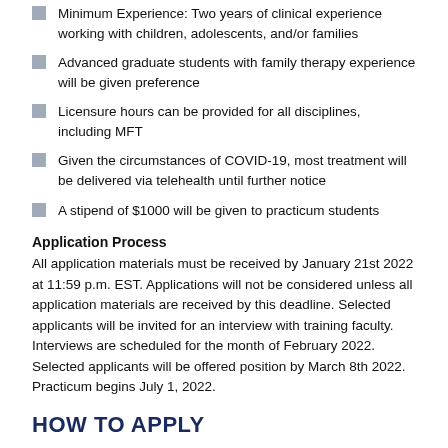Minimum Experience: Two years of clinical experience working with children, adolescents, and/or families
Advanced graduate students with family therapy experience will be given preference
Licensure hours can be provided for all disciplines, including MFT
Given the circumstances of COVID-19, most treatment will be delivered via telehealth until further notice
A stipend of $1000 will be given to practicum students
Application Process
All application materials must be received by January 21st 2022 at 11:59 p.m. EST. Applications will not be considered unless all application materials are received by this deadline. Selected applicants will be invited for an interview with training faculty. Interviews are scheduled for the month of February 2022. Selected applicants will be offered position by March 8th 2022. Practicum begins July 1, 2022.
HOW TO APPLY
Please direct all questions and if applying, all application materials to